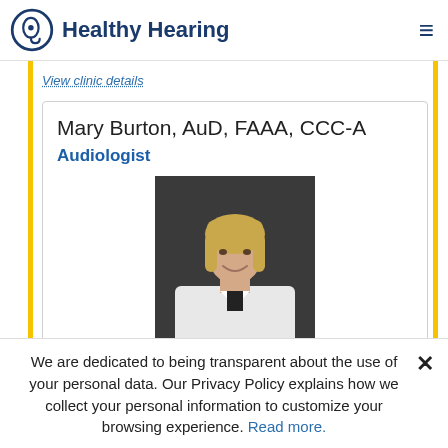Healthy Hearing
View clinic details
Mary Burton, AuD, FAAA, CCC-A
Audiologist
[Figure (photo): Professional headshot of Mary Burton, AuD, FAAA, CCC-A. A blonde woman in a white lab coat smiling against a dark background.]
We are dedicated to being transparent about the use of your personal data. Our Privacy Policy explains how we collect your personal information to customize your browsing experience. Read more.